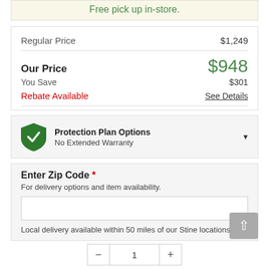Free pick up in-store.
| Regular Price | $1,249 |
| Our Price | $948 |
| You Save | $301 |
| Rebate Available | See Details |
Protection Plan Options
No Extended Warranty
Enter Zip Code *
For delivery options and item availability.
Local delivery available within 50 miles of our Stine locations.
1